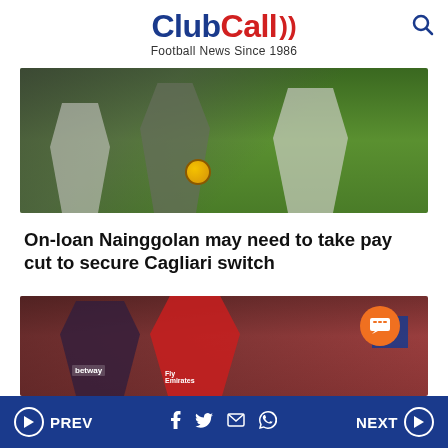ClubCall - Football News Since 1986
[Figure (photo): Football match photo showing players legs during a game on a green pitch, with a ball visible]
On-loan Nainggolan may need to take pay cut to secure Cagliari switch
[Figure (photo): Football match photo showing an Arsenal player in red kit (number 14, Aubameyang) running, with a West Ham player in dark kit wearing betway sponsor shirt]
PREV | social icons (Facebook, Twitter, Email, WhatsApp) | NEXT